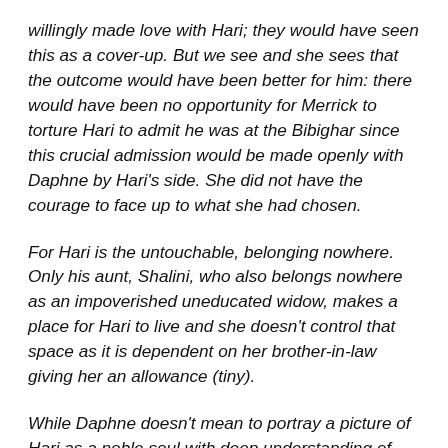willingly made love with Hari; they would have seen this as a cover-up. But we see and she sees that the outcome would have been better for him: there would have been no opportunity for Merrick to torture Hari to admit he was at the Bibighar since this crucial admission would be made openly with Daphne by Hari's side. She did not have the courage to face up to what she had chosen.
For Hari is the untouchable, belonging nowhere. Only his aunt, Shalini, who also belongs nowhere as an impoverished uneducated widow, makes a place for Hari to live and she doesn't control that space as it is dependent on her brother-in-law giving her an allowance (tiny).
While Daphne doesn't mean to portray a picture of Hari as a noble soul with deep understanding of what's going on